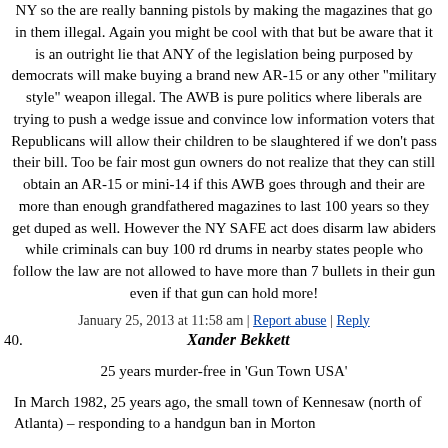NY so the are really banning pistols by making the magazines that go in them illegal. Again you might be cool with that but be aware that it is an outright lie that ANY of the legislation being purposed by democrats will make buying a brand new AR-15 or any other "military style" weapon illegal. The AWB is pure politics where liberals are trying to push a wedge issue and convince low information voters that Republicans will allow their children to be slaughtered if we don't pass their bill. Too be fair most gun owners do not realize that they can still obtain an AR-15 or mini-14 if this AWB goes through and their are more than enough grandfathered magazines to last 100 years so they get duped as well. However the NY SAFE act does disarm law abiders while criminals can buy 100 rd drums in nearby states people who follow the law are not allowed to have more than 7 bullets in their gun even if that gun can hold more!
January 25, 2013 at 11:58 am | Report abuse | Reply
40. Xander Bekkett
25 years murder-free in 'Gun Town USA'
In March 1982, 25 years ago, the small town of Kennesaw (north of Atlanta) – responding to a handgun ban in Morton